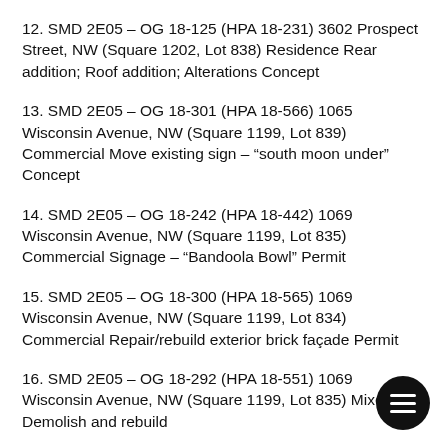12. SMD 2E05 – OG 18-125 (HPA 18-231) 3602 Prospect Street, NW (Square 1202, Lot 838) Residence Rear addition; Roof addition; Alterations Concept
13. SMD 2E05 – OG 18-301 (HPA 18-566) 1065 Wisconsin Avenue, NW (Square 1199, Lot 839) Commercial Move existing sign – “south moon under” Concept
14. SMD 2E05 – OG 18-242 (HPA 18-442) 1069 Wisconsin Avenue, NW (Square 1199, Lot 835) Commercial Signage – “Bandoola Bowl” Permit
15. SMD 2E05 – OG 18-300 (HPA 18-565) 1069 Wisconsin Avenue, NW (Square 1199, Lot 834) Commercial Repair/rebuild exterior brick façade Permit
16. SMD 2E05 – OG 18-292 (HPA 18-551) 1069 Wisconsin Avenue, NW (Square 1199, Lot 835) Mixed-use Demolish and rebuild